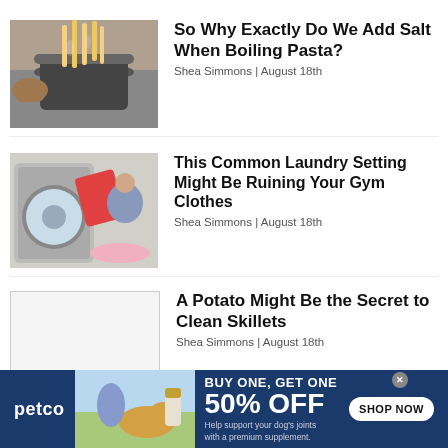[Figure (photo): Person adding pasta to a boiling pot of water on a stove]
So Why Exactly Do We Add Salt When Boiling Pasta?
Shea Simmons | August 18th
[Figure (photo): Person loading laundry into a front-loading washing machine with colorful clothes]
This Common Laundry Setting Might Be Ruining Your Gym Clothes
Shea Simmons | August 18th
[Figure (photo): White/blank thumbnail placeholder]
A Potato Might Be the Secret to Clean Skillets
Shea Simmons | August 18th
[Figure (infographic): Petco advertisement banner: BUY ONE, GET ONE 50% OFF on dog joint supplement. Shows a woman with a golden retriever and supplement bottle. SHOP NOW button.]